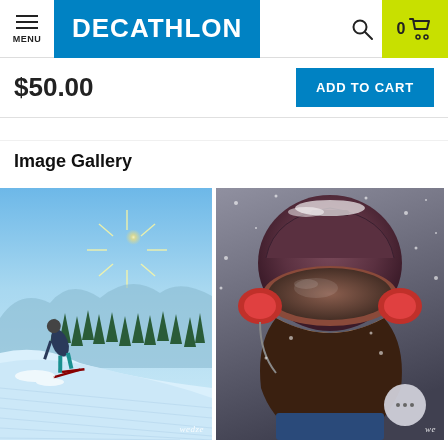MENU | DECATHLON | Search | 0 Cart
$50.00
ADD TO CART
Image Gallery
[Figure (photo): Skier carving down a groomed snowy slope with bright sun and pine trees in the background, Wedze branding watermark at bottom right]
[Figure (photo): Close-up of a woman wearing a ski helmet with red ear protection and ski goggles, snow falling, Wedze branding watermark at bottom right, chat bubble overlay at bottom right]